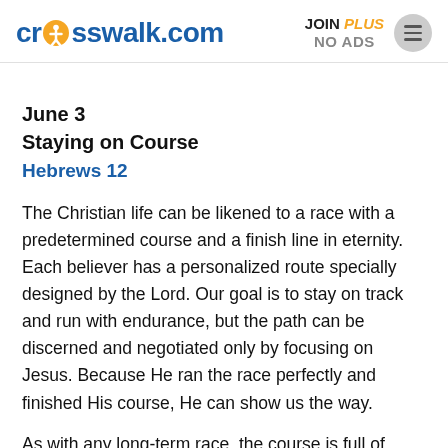crosswalk.com | JOIN PLUS NO ADS
June 3
Staying on Course
Hebrews 12
The Christian life can be likened to a race with a predetermined course and a finish line in eternity. Each believer has a personalized route specially designed by the Lord. Our goal is to stay on track and run with endurance, but the path can be discerned and negotiated only by focusing on Jesus. Because He ran the race perfectly and finished His course, He can show us the way.
As with any long-term race, the course is full of